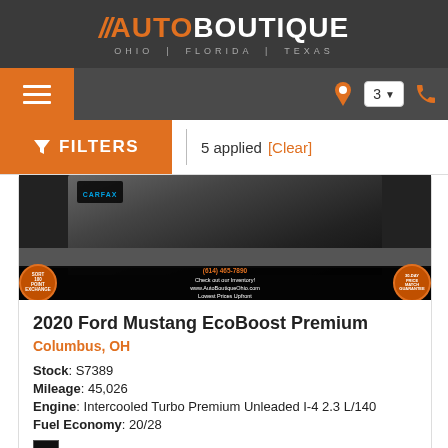AUTO BOUTIQUE OHIO | FLORIDA | TEXAS
FILTERS | 5 applied [Clear]
[Figure (photo): Partial view of a dark-colored Ford Mustang with dealer badges, carfax badge, and dealer bottom bar showing phone number, website, and promotional text]
2020 Ford Mustang EcoBoost Premium
Columbus, OH
Stock: S7389
Mileage: 45,026
Engine: Intercooled Turbo Premium Unleaded I-4 2.3 L/140
Fuel Economy: 20/28